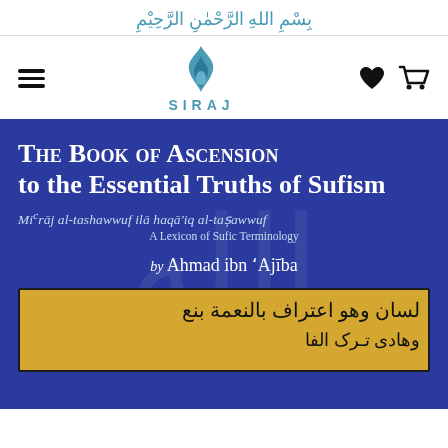بسم الله الرحمن الرحيم
[Figure (logo): Siraj logo with flame icon and the word SIRAJ in teal capital letters with spaced tracking]
[Figure (illustration): Book cover for 'The Book of Ascension to the Essential Truths of Sufism' (Mi'raj al-tashawwuf ila haqa'iq al-tasawwuf) A Lexicon of Sufic Terminology by Ahmad ibn 'Ajiba. Blue background with white title text, italic subtitle, and inset manuscript page showing Arabic calligraphy on yellow parchment background.]